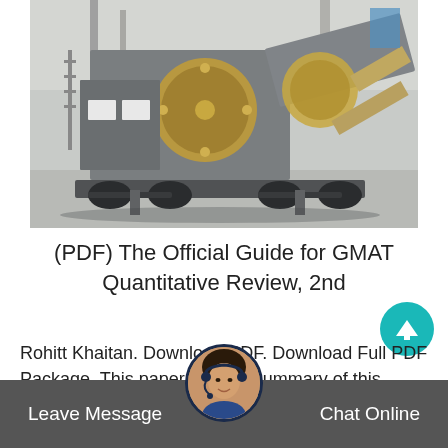[Figure (photo): Large industrial mobile jaw crusher / rock crushing machine on crawler tracks, photographed in an industrial facility. The machine is grey with gold/yellow flywheel components, mounted on a heavy-duty trailer chassis.]
(PDF) The Official Guide for GMAT Quantitative Review, 2nd
Rohitt Khaitan. Download PDF. Download Full PDF Package. This paper. A short summary of this paper. 20 Full PDFs related to this paper. Read Paper. The..
Leave Message
Chat Online